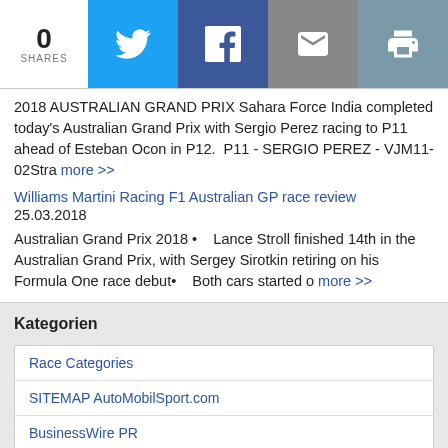0 SHARES [Twitter share button] [Facebook share button] [Email share button] [Print share button]
2018 AUSTRALIAN GRAND PRIX Sahara Force India completed today's Australian Grand Prix with Sergio Perez racing to P11 ahead of Esteban Ocon in P12.  P11 - SERGIO PEREZ - VJM11-02Stra more >>
Williams Martini Racing F1 Australian GP race review
25.03.2018
Australian Grand Prix 2018 •    Lance Stroll finished 14th in the Australian Grand Prix, with Sergey Sirotkin retiring on his Formula One race debut•    Both cars started o more >>
Kategorien
Race Categories
SITEMAP AutoMobilSport.com
BusinessWire PR
VIDEOS
Photos Slideshows
ALUTEC Events
UNIWHEELS News